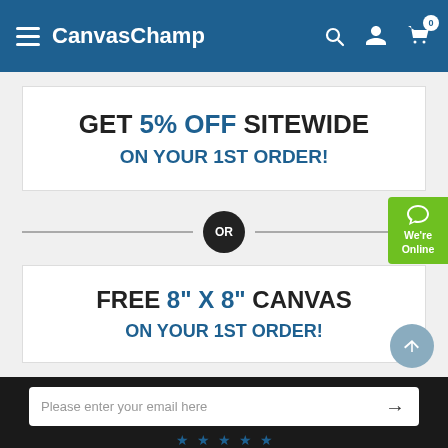CanvasChamp
GET 5% OFF SITEWIDE ON YOUR 1ST ORDER!
OR
FREE 8" X 8" CANVAS ON YOUR 1ST ORDER!
We're Online
Please enter your email here